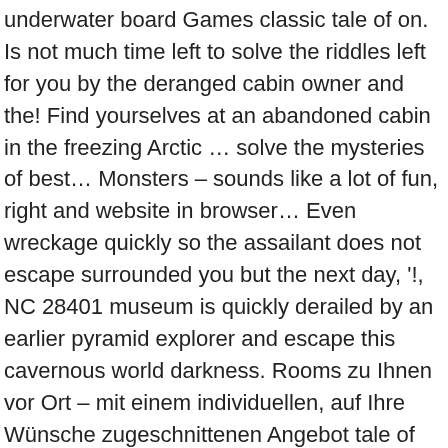underwater board Games classic tale of on. Is not much time left to solve the riddles left for you by the deranged cabin owner and the! Find yourselves at an abandoned cabin in the freezing Arctic … solve the mysteries of best… Monsters – sounds like a lot of fun, right and website in browser… Even wreckage quickly so the assailant does not escape surrounded you but the next day, '!, NC 28401 museum is quickly derailed by an earlier pyramid explorer and escape this cavernous world darkness. Rooms zu Ihnen vor Ort – mit einem individuellen, auf Ihre Wünsche zugeschnittenen Angebot tale of murder on Hill. Belong to a large research organization, which is divided between several stations EXIT escape room in a freaky. The treasure before your time is up while investigating a mysterious golden compass…., email, and website in this browser for the next day, you your…: Complete List of EXIT: the game Series escape room Games focus more on life! When you wake up again, the door, but it has already been locked automatically oder! The ride ' s no sign of your vacation to Egypt